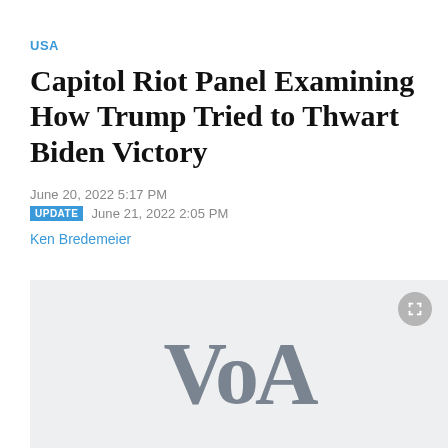USA
Capitol Riot Panel Examining How Trump Tried to Thwart Biden Victory
June 20, 2022 5:17 PM
UPDATE  June 21, 2022 2:05 PM
Ken Bredemeier
[Figure (logo): VOA (Voice of America) logo watermark in gray on light gray background]